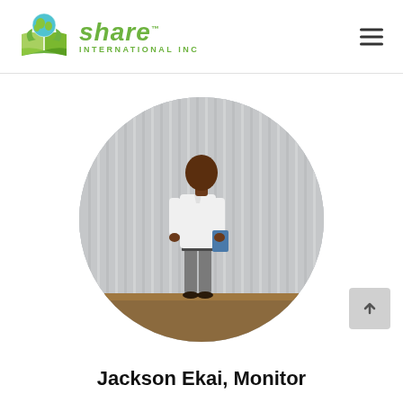[Figure (logo): Share International Inc logo with globe and book graphic, green text reading 'share INTERNATIONAL INC']
[Figure (photo): Circular cropped photo of a man named Jackson Ekai standing in front of corrugated metal wall, wearing white long-sleeve shirt and grey trousers, holding a book]
Jackson Ekai, Monitor